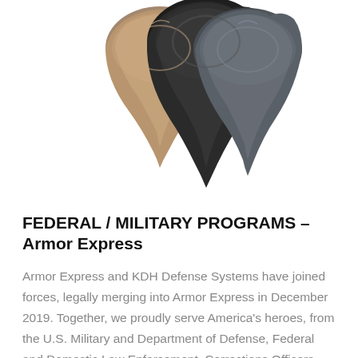[Figure (photo): Three folded garments/neck gaiters in tan/brown, black, and dark grey colors displayed together against a white background, viewed from above/front.]
FEDERAL / MILITARY PROGRAMS – Armor Express
Armor Express and KDH Defense Systems have joined forces, legally merging into Armor Express in December 2019. Together, we proudly serve America's heroes, from the U.S. Military and Department of Defense, Federal and Domestic Law Enforcement, Corrections Officers, Fire & EMS personnel and first responders around the world.